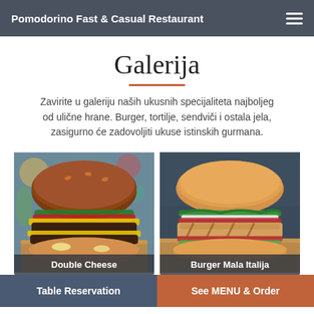Pomodorino Fast & Casual Restaurant
Galerija
Zavirite u galeriju naših ukusnih specijaliteta najboljeg od ulične hrane. Burger, tortilje, sendviči i ostala jela, zasigurno će zadovoljiti ukuse istinskih gurmana.
[Figure (photo): Photo of a double cheeseburger with melted yellow cheese, served on a wooden board. Label: Double Cheese]
[Figure (photo): Photo of a chicken burger with vegetables in a golden bun. Label: Burger Mala Italija]
Table Reservation | See MENU & Order